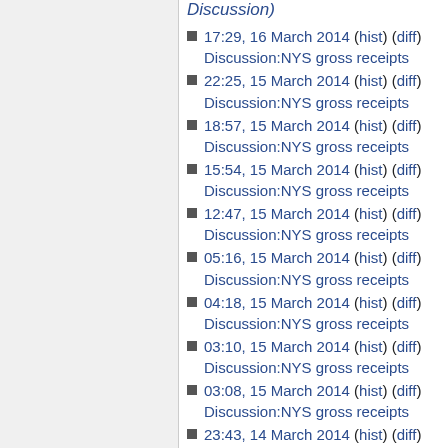Discussion)
17:29, 16 March 2014 (hist) (diff) Discussion:NYS gross receipts
22:25, 15 March 2014 (hist) (diff) Discussion:NYS gross receipts
18:57, 15 March 2014 (hist) (diff) Discussion:NYS gross receipts
15:54, 15 March 2014 (hist) (diff) Discussion:NYS gross receipts
12:47, 15 March 2014 (hist) (diff) Discussion:NYS gross receipts
05:16, 15 March 2014 (hist) (diff) Discussion:NYS gross receipts
04:18, 15 March 2014 (hist) (diff) Discussion:NYS gross receipts
03:10, 15 March 2014 (hist) (diff) Discussion:NYS gross receipts
03:08, 15 March 2014 (hist) (diff) Discussion:NYS gross receipts
23:43, 14 March 2014 (hist) (diff) Discussion:NYS gross receipts
23:30, 14 March 2014 (hist) (diff) Discussion:NYS gross receipts
Discussion:NYS gross receipts